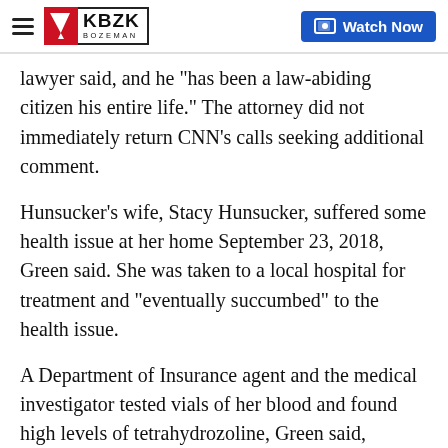KBZK BOZEMAN | Watch Now
lawyer said, and he "has been a law-abiding citizen his entire life." The attorney did not immediately return CNN's calls seeking additional comment.
Hunsucker's wife, Stacy Hunsucker, suffered some health issue at her home September 23, 2018, Green said. She was taken to a local hospital for treatment and "eventually succumbed" to the health issue.
A Department of Insurance agent and the medical investigator tested vials of her blood and found high levels of tetrahydrozoline, Green said, "which is one of the active ingredients in a certain eye drop medicine that you would use to clear your eyes."
Green did not release the citation believing a...